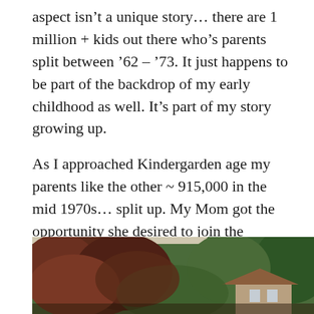aspect isn't a unique story… there are 1 million + kids out there who's parents split between '62 – '73. It just happens to be part of the backdrop of my early childhood as well. It's part of my story growing up.
As I approached Kindergarden age my parents like the other ~ 915,000 in the mid 1970s… split up. My Mom got the opportunity she desired to join the workforce… a point which was apparently contested within our household and as I understand, the main reason for the split.
[Figure (photo): Outdoor photograph showing trees with reddish-brown foliage in the foreground and a house with a brown roof visible in the background, surrounded by green trees.]